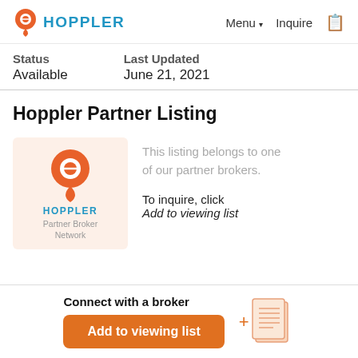HOPPLER | Menu | Inquire
| Status | Last Updated |
| --- | --- |
| Available | June 21, 2021 |
Hoppler Partner Listing
[Figure (logo): Hoppler orange location pin logo with text HOPPLER in blue and Partner Broker Network below]
This listing belongs to one of our partner brokers.
To inquire, click Add to viewing list
Connect with a broker
Add to viewing list